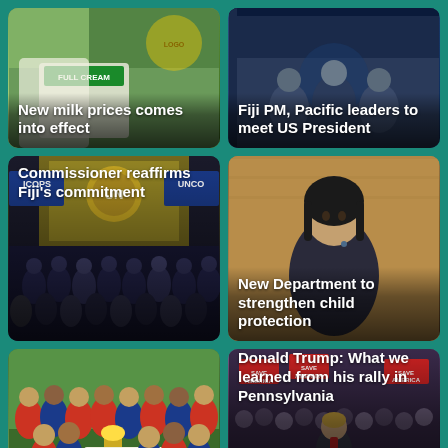[Figure (photo): Milk products display with Full Cream banner visible]
New milk prices comes into effect
[Figure (photo): Fiji PM and Pacific leaders meeting with US President]
Fiji PM, Pacific leaders to meet US President
[Figure (photo): UN General Assembly hall with police officers, ICOPS and UNCO signs visible]
Commissioner reaffirms Fiji's commitment
[Figure (photo): Woman in dark jacket, official setting]
New Department to strengthen child protection
[Figure (photo): Group of Lions football players holding trophy and large cheque]
Catarogo gives Lions the perfect hunt
[Figure (photo): Donald Trump speaking at rally in Pennsylvania with Save America signs]
Donald Trump: What we learned from his rally in Pennsylvania